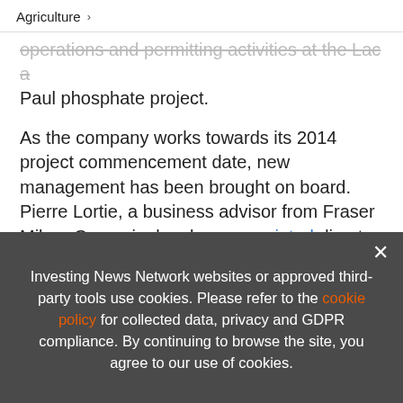Agriculture >
operations and permitting activities at the Lac a Paul phosphate project.
As the company works towards its 2014 project commencement date, new management has been brought on board. Pierre Lortie, a business advisor from Fraser Milner Casgrain, has been appointed director and board chairman.
[Figure (infographic): Advertisement banner: EXCLUSIVE 2022 AGRICULTURE OUTLOOK. TRENDS. FORECASTS. TOP STOCKS. with book image and orange arrow button.]
Investing News Network websites or approved third-party tools use cookies. Please refer to the cookie policy for collected data, privacy and GDPR compliance. By continuing to browse the site, you agree to our use of cookies.